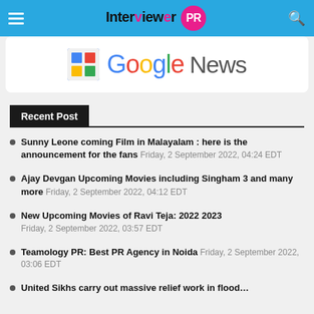Interviewer PR
[Figure (logo): Google News logo with colorful Google G icon and text]
Recent Post
Sunny Leone coming Film in Malayalam : here is the announcement for the fans Friday, 2 September 2022, 04:24 EDT
Ajay Devgan Upcoming Movies including Singham 3 and many more Friday, 2 September 2022, 04:12 EDT
New Upcoming Movies of Ravi Teja: 2022 2023 Friday, 2 September 2022, 03:57 EDT
Teamology PR: Best PR Agency in Noida Friday, 2 September 2022, 03:06 EDT
United Sikhs carry out massive relief work in flood…